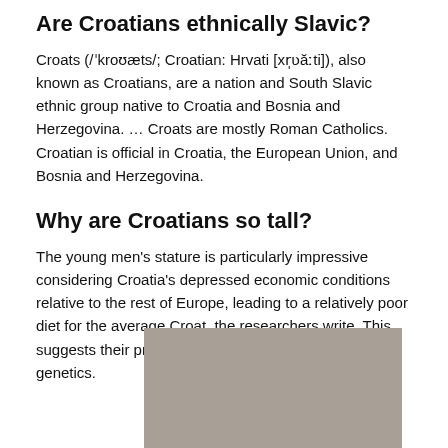Are Croatians ethnically Slavic?
Croats (/ˈkroʊæts/; Croatian: Hrvati [xŕʍăːti]), also known as Croatians, are a nation and South Slavic ethnic group native to Croatia and Bosnia and Herzegovina. … Croats are mostly Roman Catholics. Croatian is official in Croatia, the European Union, and Bosnia and Herzegovina.
Why are Croatians so tall?
The young men’s stature is particularly impressive considering Croatia’s depressed economic conditions relative to the rest of Europe, leading to a relatively poor diet for the average Croat, the researchers write. This suggests their prodigious height can be attributed to genetics.
[Figure (photo): A grey/beige rectangular image placeholder at the bottom of the page.]